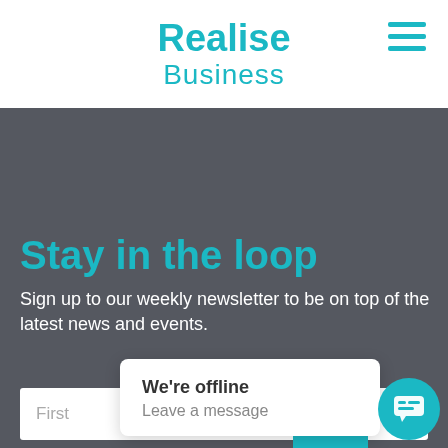[Figure (logo): Realise Business logo in teal/cyan color, two lines: 'Realise' and 'Business']
Stay in the loop
Sign up to our weekly newsletter to be on top of the latest news and events.
First
Last
Email Address
We're offline
Leave a message